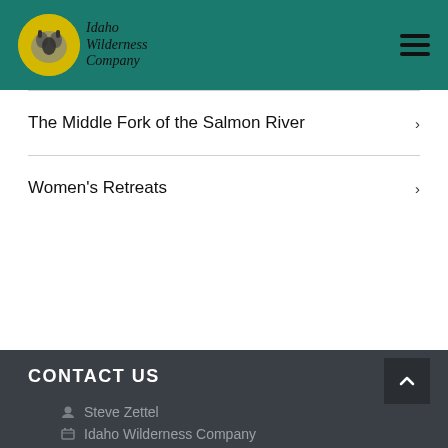Idaho Wilderness Company
The Middle Fork of the Salmon River
Women's Retreats
CONTACT US
Steve Zettel
Idaho Wilderness Company